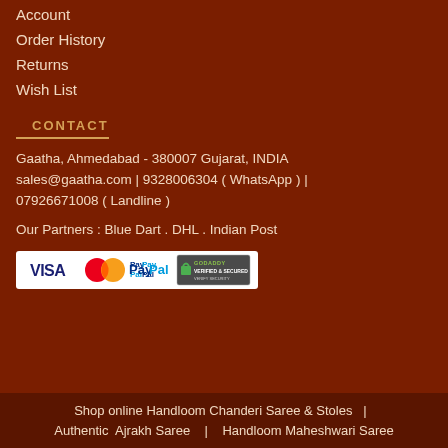Account
Order History
Returns
Wish List
CONTACT
Gaatha, Ahmedabad - 380007 Gujarat, INDIA
sales@gaatha.com | 9328006304 ( WhatsApp ) | 07926671008 ( Landline )
Our Partners : Blue Dart . DHL . Indian Post
[Figure (other): Payment badges: VISA, Mastercard, PayPal, GoDaddy Verified & Secured]
Shop online Handloom Chanderi Saree & Stoles  |  Authentic Ajrakh Saree  |  Handloom Maheshwari Saree